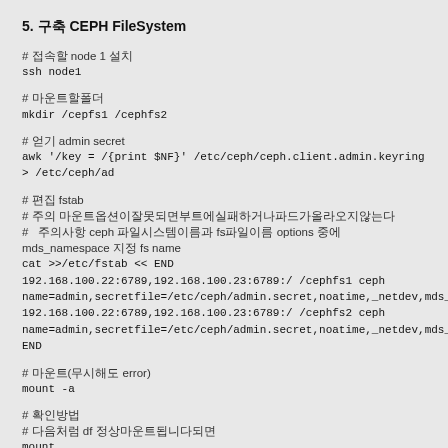5. 구축 CEPH FileSystem
# 접속할 node 1 설치
ssh node1
# 마운트할폴더
mkdir /cepfs1 /cephfs2
# 얻기 admin secret
awk '/key = /{print $NF}' /etc/ceph/ceph.client.admin.keyring > /etc/ceph/ad
# 편집 fstab
# 주의 마운트옵션이잘못되면부트에실패하거나파드가올라오지않는다
# 주의사항 ceph 파일시스템이름과 fs파일이름 options 중에 mds_namespace 지정 fs name
cat >>/etc/fstab << END
192.168.100.22:6789,192.168.100.23:6789:/ /cephfs1 ceph
name=admin,secretfile=/etc/ceph/admin.secret,noatime,_netdev,mds_name
192.168.100.22:6789,192.168.100.23:6789:/ /cephfs2 ceph
name=admin,secretfile=/etc/ceph/admin.secret,noatime,_netdev,mds_name
END
# 마운트(무시해도 error)
mount -a
# 확인방법
# 다음처럼 df 정상마운트됩니다되면
mount